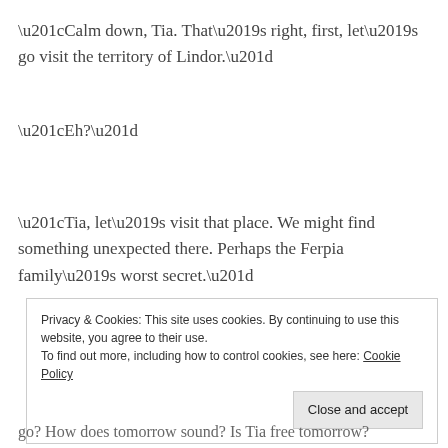“Calm down, Tia. That’s right, first, let’s go visit the territory of Lindor.”
“Eh?”
“Tia, let’s visit that place. We might find something unexpected there. Perhaps the Ferpia family’s worst secret.”
Privacy & Cookies: This site uses cookies. By continuing to use this website, you agree to their use.
To find out more, including how to control cookies, see here: Cookie Policy
[Close and accept button]
go? How does tomorrow sound? Is Tia free tomorrow?